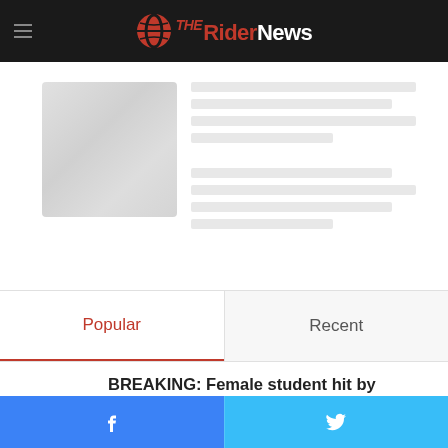The Rider News
[Figure (photo): Washed-out article card image placeholder]
Popular
Recent
BREAKING: Female student hit by snowplow
March 7, 2018
Facebook share button | Twitter share button